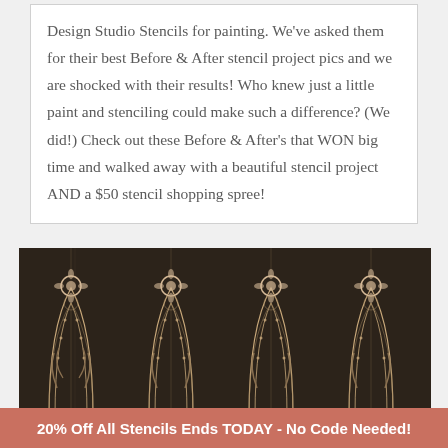Design Studio Stencils for painting. We've asked them for their best Before & After stencil project pics and we are shocked with their results! Who knew just a little paint and stenciling could make such a difference? (We did!) Check out these Before & After's that WON big time and walked away with a beautiful stencil project AND a $50 stencil shopping spree!
[Figure (photo): A decorative art nouveau stencil pattern on a dark brown background featuring repeating floral and arch motifs in cream and gold tones.]
20% Off All Stencils Ends TODAY - No Code Needed!